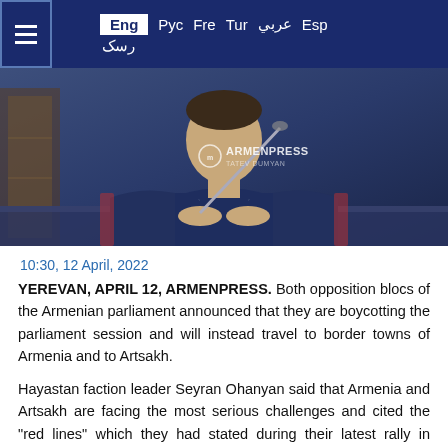Eng Рус Fre Tur عربي Esp رسک
[Figure (photo): A man in a dark suit sits at a table with a microphone in front of him, in what appears to be a parliamentary setting. ARMENPRESS watermark visible.]
10:30, 12 April, 2022
YEREVAN, APRIL 12, ARMENPRESS. Both opposition blocs of the Armenian parliament announced that they are boycotting the parliament session and will instead travel to border towns of Armenia and to Artsakh.
Hayastan faction leader Seyran Ohanyan said that Armenia and Artsakh are facing the most serious challenges and cited the "red lines" which they had stated during their latest rally in Yerevan.
"They said that they visited the front lines of the...